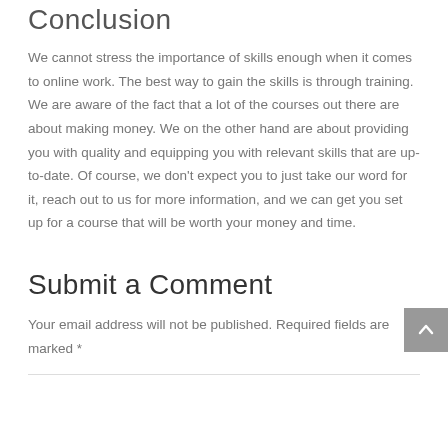Conclusion
We cannot stress the importance of skills enough when it comes to online work. The best way to gain the skills is through training. We are aware of the fact that a lot of the courses out there are about making money. We on the other hand are about providing you with quality and equipping you with relevant skills that are up-to-date. Of course, we don't expect you to just take our word for it, reach out to us for more information, and we can get you set up for a course that will be worth your money and time.
Submit a Comment
Your email address will not be published. Required fields are marked *